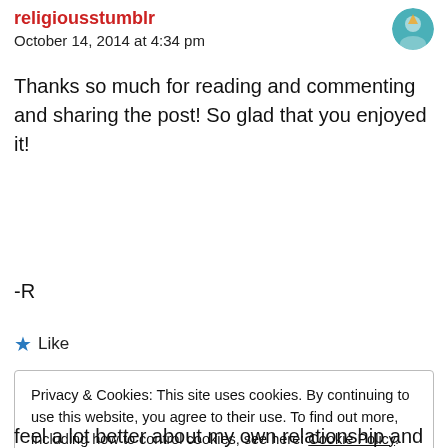October 14, 2014 at 4:34 pm
Thanks so much for reading and commenting and sharing the post! So glad that you enjoyed it!
-R
★ Like
Privacy & Cookies: This site uses cookies. By continuing to use this website, you agree to their use. To find out more, including how to control cookies, see here: Cookie Policy
Close and accept
feel a lot better about my own relationship and